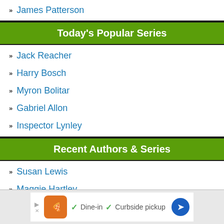James Patterson
Today's Popular Series
Jack Reacher
Harry Bosch
Myron Bolitar
Gabriel Allon
Inspector Lynley
Recent Authors & Series
Susan Lewis
Maggie Hartley
Victoria Gilbert
Victor Methos
Tracie Peterson
[Figure (screenshot): Advertisement banner with orange logo, checkmarks, 'Dine-in', 'Curbside pickup' text and a blue navigation arrow icon]